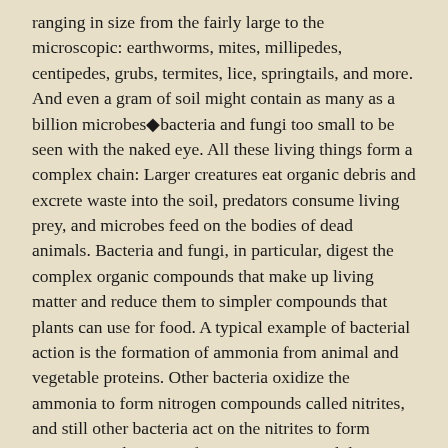ranging in size from the fairly large to the microscopic: earthworms, mites, millipedes, centipedes, grubs, termites, lice, springtails, and more. And even a gram of soil might contain as many as a billion microbes◆bacteria and fungi too small to be seen with the naked eye. All these living things form a complex chain: Larger creatures eat organic debris and excrete waste into the soil, predators consume living prey, and microbes feed on the bodies of dead animals. Bacteria and fungi, in particular, digest the complex organic compounds that make up living matter and reduce them to simpler compounds that plants can use for food. A typical example of bacterial action is the formation of ammonia from animal and vegetable proteins. Other bacteria oxidize the ammonia to form nitrogen compounds called nitrites, and still other bacteria act on the nitrites to form nitrates, another type of nitrogen compound that can be used by plants. Some types of bacteria are able to fix, or extract, nitrogen directly from the air and make it available in the soil.